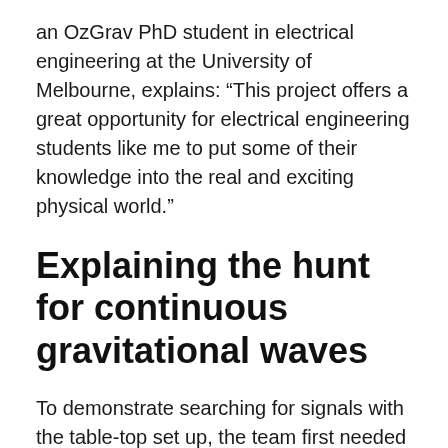an OzGrav PhD student in electrical engineering at the University of Melbourne, explains: “This project offers a great opportunity for electrical engineering students like me to put some of their knowledge into the real and exciting physical world.”
Explaining the hunt for continuous gravitational waves
To demonstrate searching for signals with the table-top set up, the team first needed to make some fake signals to find! This is where the analogy of sound comes in: audio signals are used to mimic gravitational waves interacting with the detector. The